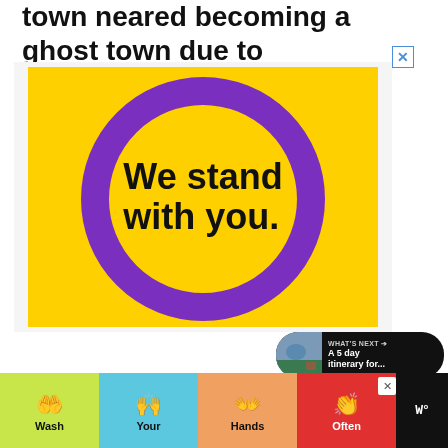town neared becoming a ghost town due to earthquakes and erosion.
[Figure (infographic): Advertisement banner with yellow background and large purple circle, text reads 'We stand with you.' in bold black. Has an X close button in top right corner.]
[Figure (screenshot): UI element: heart/like button (white circle with heart icon), share count showing 3.7K, and share button (dark circle with share icon)]
[Figure (screenshot): What's Next widget: dark pill-shaped element showing thumbnail of coastal town, label 'WHAT'S NEXT →', text 'A 5 day itinerary for...']
[Figure (infographic): Bottom advertisement bar: dark background with four colored sections (lime, blue, orange, red) showing handwashing icons with labels 'Wash', 'Your', 'Hands', 'Often', and a brand logo area on the right with W° symbol]